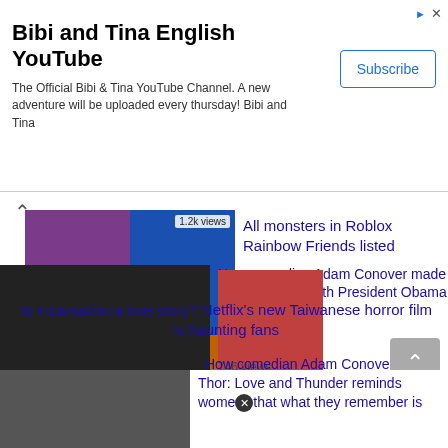[Figure (screenshot): Advertisement banner for Bibi and Tina English YouTube channel with Subscribe button]
Bibi and Tina English YouTube
The Official Bibi & Tina YouTube Channel. A new adventure will be uploaded every thursday! Bibi and Tina
[Figure (screenshot): Video list showing multiple YouTube-style video thumbnails with titles and view counts]
1.2k views
All monsters in Roblox Rainbow Friends listed
1.1k views
Is Incantation a true story? Netflix's new Taiwanese horror film is haunting fans
0.9k views
How comedian Adam Conover made a Netflix show with President Obama
The Sandman Cast in Episode 4 Battle and Their Characters' Greatest Hope
746 views
Thor: Love and Thunder reminds women that what they remember is